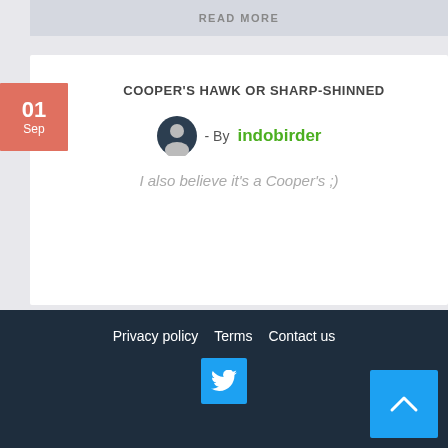READ MORE
COOPER'S HAWK OR SHARP-SHINNED
- By indobirder
I also believe it's a Cooper's ;)
READ MORE
VIEW MORE TOPICS
Privacy policy  Terms  Contact us